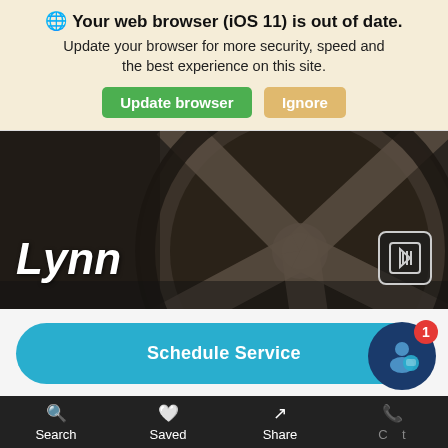🌐 Your web browser (iOS 11) is out of date. Update your browser for more security, speed and the best experience on this site.
Update browser | Ignore
[Figure (photo): Close-up photo of a dark metallic car alloy wheel/tire with spoke detail. White bold italic text 'Lynn' overlaid at bottom left. Barcode/scan icon at bottom right.]
Schedule Service
Service Specials
[Figure (infographic): Chat/support widget circle icon (dark blue) with person/speech bubble icon and red badge showing '1']
Search   Saved   Share   Call